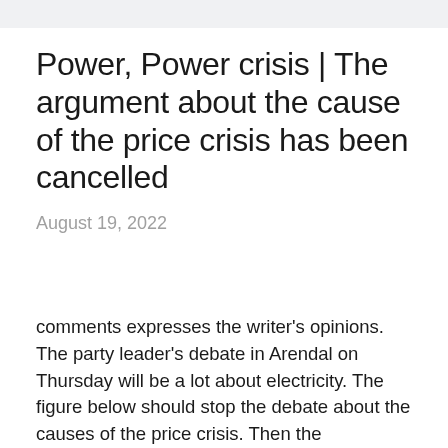Power, Power crisis | The argument about the cause of the price crisis has been cancelled
August 19, 2022
comments expresses the writer's opinions. The party leader's debate in Arendal on Thursday will be a lot about electricity. The figure below should stop the debate about the causes of the price crisis. Then the